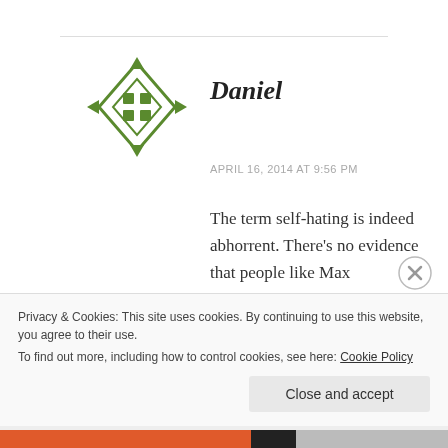[Figure (logo): Green geometric avatar icon — diamond shape with arrow-like decorations and a 2x2 grid of squares inside]
Daniel
APRIL 16, 2014 AT 9:56 PM
The term self-hating is indeed abhorrent. There’s no evidence that people like Max Blumenthal hate themselves. If anything the opposite is the case. It is extremely arguable that Blumenthal is a Jew-hater,
Privacy & Cookies: This site uses cookies. By continuing to use this website, you agree to their use.
To find out more, including how to control cookies, see here: Cookie Policy
Close and accept